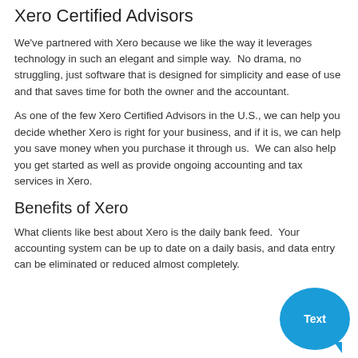Xero Certified Advisors
We've partnered with Xero because we like the way it leverages technology in such an elegant and simple way.  No drama, no struggling, just software that is designed for simplicity and ease of use and that saves time for both the owner and the accountant.
As one of the few Xero Certified Advisors in the U.S., we can help you decide whether Xero is right for your business, and if it is, we can help you save money when you purchase it through us.  We can also help you get started as well as provide ongoing accounting and tax services in Xero.
Benefits of Xero
What clients like best about Xero is the daily bank feed.  Your accounting system can be up to date on a daily basis, and data entry can be eliminated or reduced almost completely.